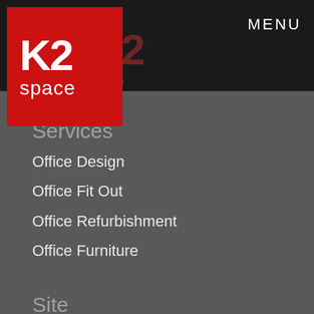K2 space | MENU
Services
Office Design
Office Fit Out
Office Refurbishment
Office Furniture
Site
About Us
Our Services